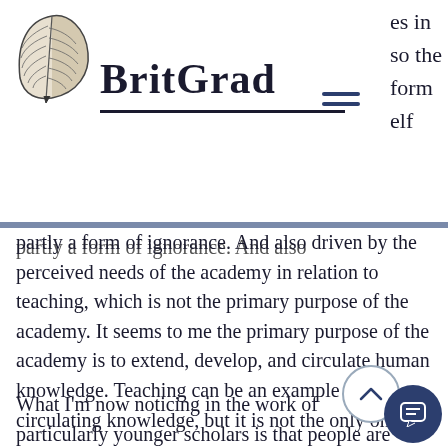[Figure (logo): BritGrad website header with feather quill logo and brand name BritGrad]
partly a form of ignorance. And also driven by the perceived needs of the academy in relation to teaching, which is not the primary purpose of the academy. It seems to me the primary purpose of the academy is to extend, develop, and circulate human knowledge. Teaching can be an example of circulating knowledge, but it is not the only one.
What I'm now noticing in the work of particularly younger scholars is that people are less bound to a group canonical texts and are more interested